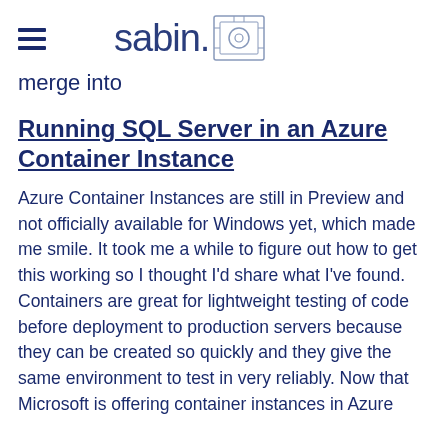sabin.io
merge into
Running SQL Server in an Azure Container Instance
Azure Container Instances are still in Preview and not officially available for Windows yet, which made me smile. It took me a while to figure out how to get this working so I thought I'd share what I've found. Containers are great for lightweight testing of code before deployment to production servers because they can be created so quickly and they give the same environment to test in very reliably. Now that Microsoft is offering container instances in Azure